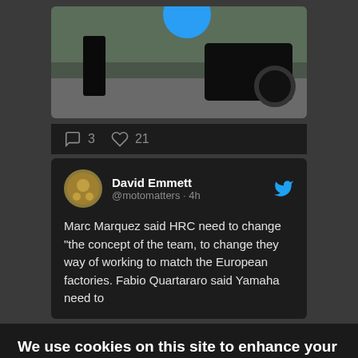[Figure (photo): Partial photo showing a person in black clothing next to a motorcycle on a road with trees in the background. A blue circular element is partially visible at the top.]
3   21
David Emmett @motomatters · 4h
Marc Marquez said HRC need to change "the concept of the team, to change they way of working to match the European factories. Fabio Quartararo said Yamaha need to
We use cookies on this site to enhance your user experience
By clicking any link on this page you are giving your consent for us to set cookies. No, give me more info
OK, I agree